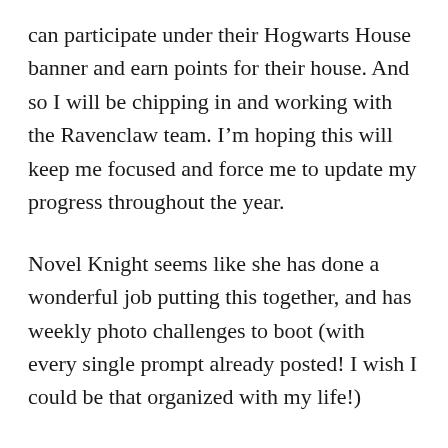can participate under their Hogwarts House banner and earn points for their house. And so I will be chipping in and working with the Ravenclaw team. I'm hoping this will keep me focused and force me to update my progress throughout the year.
Novel Knight seems like she has done a wonderful job putting this together, and has weekly photo challenges to boot (with every single prompt already posted! I wish I could be that organized with my life!)
I'm still working on coming up with my goals for the year and planning out which books I hope to tackle,